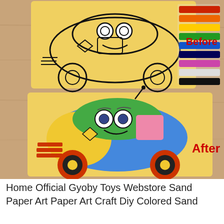[Figure (photo): Before and after comparison of a sand art coloring kit. Top image shows a yellow card with a black outline drawing of a cartoon car, with colored sand packets visible top right, labeled 'Before' in red. Bottom image shows the same cartoon car colored in with vibrant colored sand (green, blue, pink, yellow, red, orange), labeled 'After' in red. Background is a wooden surface.]
Home Official Gyoby Toys Webstore Sand Paper Art Paper Art Craft Diy Colored Sand